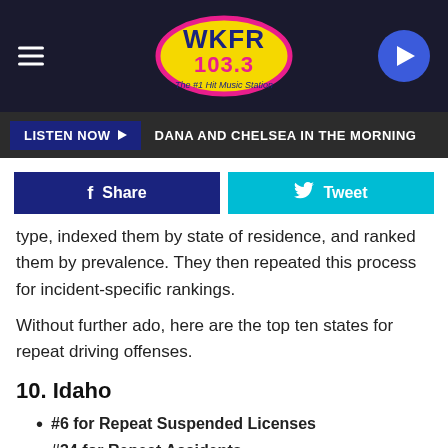WKFR 103.3 The #1 Hit Music Station
LISTEN NOW ▶  DANA AND CHELSEA IN THE MORNING
[Figure (screenshot): Facebook Share button and Twitter Tweet button]
type, indexed them by state of residence, and ranked them by prevalence. They then repeated this process for incident-specific rankings.
Without further ado, here are the top ten states for repeat driving offenses.
10. Idaho
#6 for Repeat Suspended Licenses
#34 for Repeat Accidents
#...
#...
[Figure (screenshot): Advertisement: Visit Premium Outlets® - Leesburg Premium Outlets]